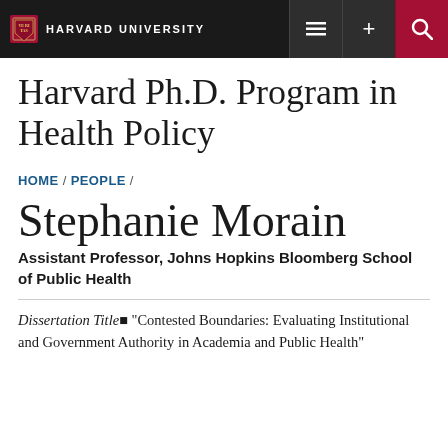HARVARD UNIVERSITY
Harvard Ph.D. Program in Health Policy
HOME / PEOPLE /
Stephanie Morain
Assistant Professor, Johns Hopkins Bloomberg School of Public Health
Dissertation Title: "Contested Boundaries: Evaluating Institutional and Government Authority in Academia and Public Health"